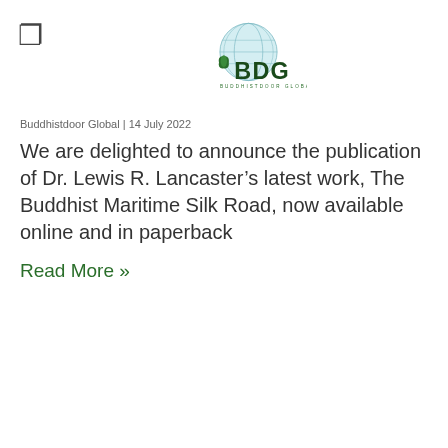[Figure (logo): Buddhistdoor Global (BDG) logo with globe graphic and lotus leaf icon]
Buddhistdoor Global | 14 July 2022
We are delighted to announce the publication of Dr. Lewis R. Lancaster’s latest work, The Buddhist Maritime Silk Road, now available online and in paperback
Read More »